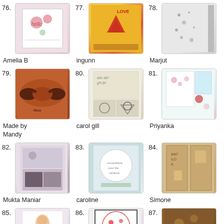76. Amelia B
77. ingunn
78. Marjut
79. Made by Mandy
80. carol gill
81. Priyanka
82. Mukta Maniar
83. caroline
84. Simone
85.
86.
87.